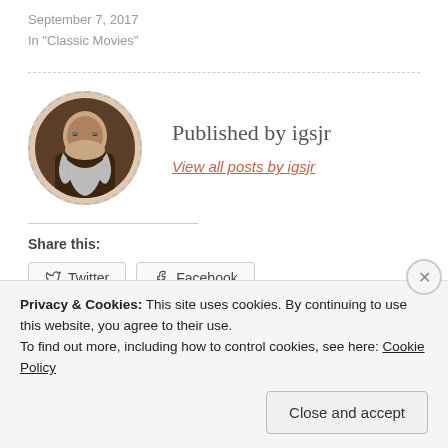September 7, 2017
In "Classic Movies"
[Figure (photo): Circular avatar photo of a bearded man with glasses, displayed with a dashed circular border]
Published by igsjr
View all posts by igsjr
Share this:
Twitter   Facebook
Privacy & Cookies: This site uses cookies. By continuing to use this website, you agree to their use.
To find out more, including how to control cookies, see here: Cookie Policy
Close and accept